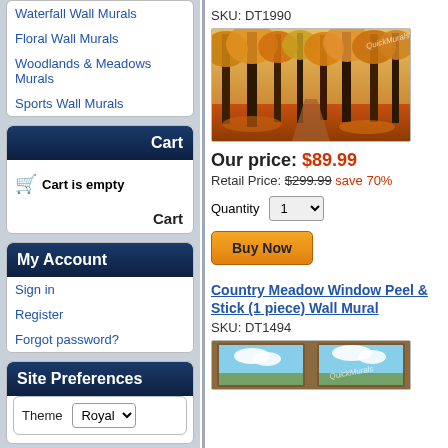Waterfall Wall Murals
Floral Wall Murals
Woodlands & Meadows Murals
Sports Wall Murals
Cart
Cart is empty
Cart
My Account
Sign in
Register
Forgot password?
Site Preferences
Theme  Royal
Site Map
SKU: DT1990
[Figure (photo): Autumn forest path with golden orange leaves on trees, sunlight filtering through tall trees along a walkway]
Our price: $89.99
Retail Price: $299.99 save 70%
Quantity 1
Buy Now
Country Meadow Window Peel & Stick (1 piece) Wall Mural
SKU: DT1494
[Figure (photo): Window view showing blue sky with clouds, framed by wooden window frame with QuickMurals watermark]